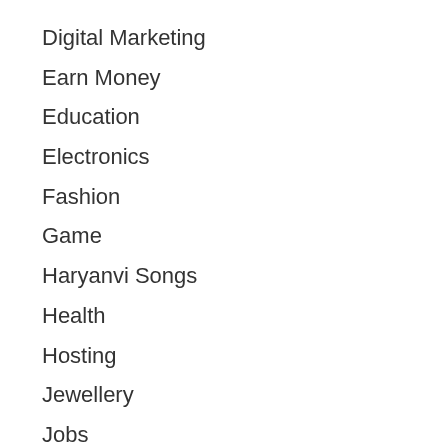Digital Marketing
Earn Money
Education
Electronics
Fashion
Game
Haryanvi Songs
Health
Hosting
Jewellery
Jobs
Music
Software
Sports